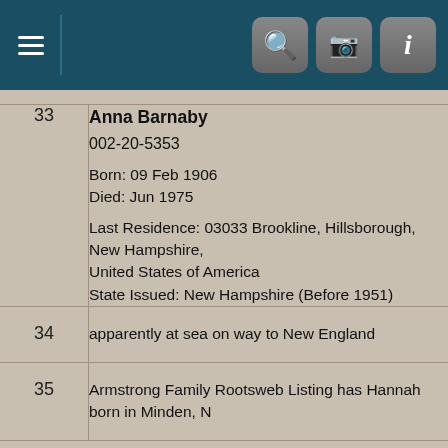[Figure (screenshot): Navigation bar with hamburger menu icon, search icon, camera icon, and info icon on dark teal background]
| # | Record Details |
| --- | --- |
| 33 | Anna Barnaby
002-20-5353

Born: 09 Feb 1906
Died: Jun 1975

Last Residence: 03033 Brookline, Hillsborough, New Hampshire, United States of America
State Issued: New Hampshire (Before 1951) |
| 34 | apparently at sea on way to New England |
| 35 | Armstrong Family Rootsweb Listing has Hannah born in Minden, N |
Note: This site uses cookies.
• View policy
I understand